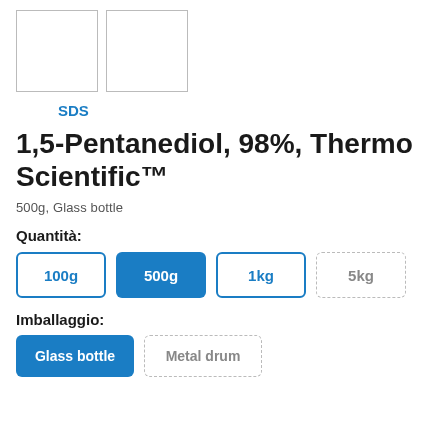[Figure (other): Two blank white image placeholder boxes with gray borders side by side]
SDS
1,5-Pentanediol, 98%, Thermo Scientific™
500g, Glass bottle
Quantità:
100g
500g
1kg
5kg
Imballaggio:
Glass bottle
Metal drum